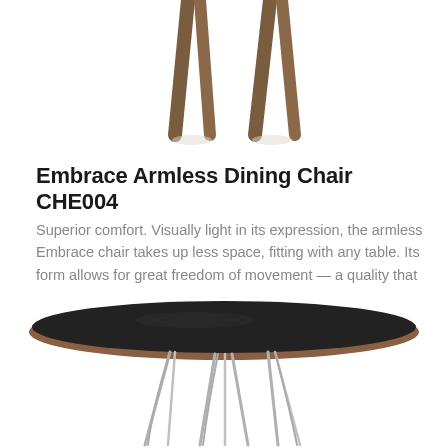[Figure (photo): Bottom portion of an armless dining chair with wooden legs on white background]
Embrace Armless Dining Chair CHE004
Superior comfort. Visually light in its expression, the armless Embrace chair takes up less space, fitting with any table. Its form allows for great freedom of movement — a quality that enables users to communicate and interact freely.
[Figure (photo): Round side table with black top, walnut edge, and chrome wire legs on white background]